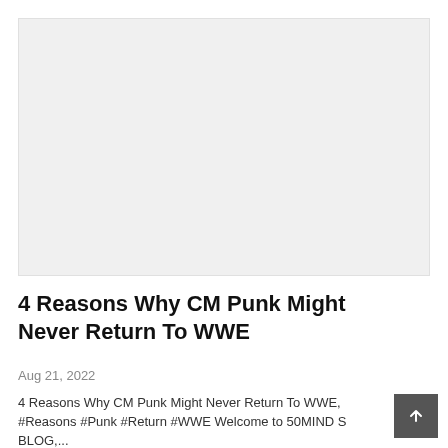[Figure (photo): Blank/placeholder image area with light gray background]
4 Reasons Why CM Punk Might Never Return To WWE
Aug 21, 2022
4 Reasons Why CM Punk Might Never Return To WWE, #Reasons #Punk #Return #WWE Welcome to 50MIND S BLOG,...